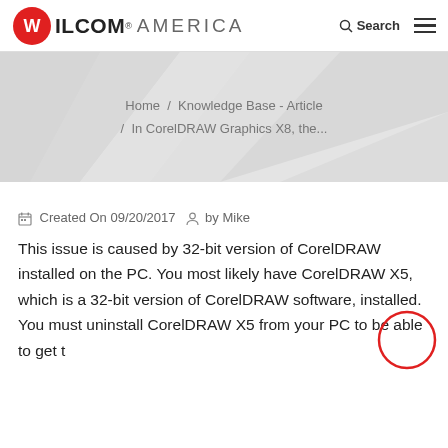WILCOM® AMERICA  🔍 Search  ≡
Home / Knowledge Base - Article / In CorelDRAW Graphics X8, the...
Created On 09/20/2017  by Mike
This issue is caused by 32-bit version of CorelDRAW installed on the PC. You most likely have CorelDRAW X5, which is a 32-bit version of CorelDRAW software, installed. You must uninstall CorelDRAW X5 from your PC to be able to get t